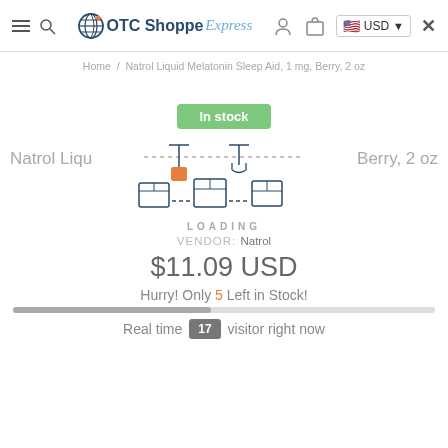OTC Shoppe Express — USD
Home / Natrol Liquid Melatonin Sleep Aid, 1 mg, Berry, 2 oz
In stock
Natrol Liqu
Berry, 2 oz
[Figure (illustration): Loading animation with conveyor belt and boxes]
LOADING
VENDOR: Natrol
$11.09 USD
Hurry! Only 5 Left in Stock!
Real time 17 visitor right now